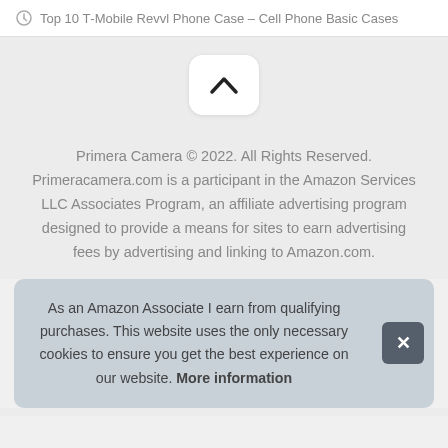Top 10 T-Mobile Revvl Phone Case – Cell Phone Basic Cases
[Figure (other): Scroll-to-top button with upward chevron arrow on a light grey background]
Primera Camera © 2022. All Rights Reserved. Primeracamera.com is a participant in the Amazon Services LLC Associates Program, an affiliate advertising program designed to provide a means for sites to earn advertising fees by advertising and linking to Amazon.com.
As an Amazon Associate I earn from qualifying purchases. This website uses the only necessary cookies to ensure you get the best experience on our website. More information